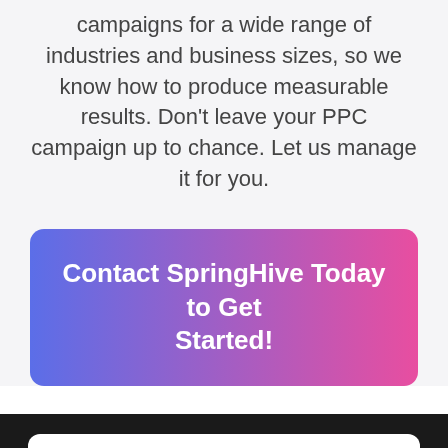campaigns for a wide range of industries and business sizes, so we know how to produce measurable results. Don't leave your PPC campaign up to chance. Let us manage it for you.
[Figure (other): Call-to-action button with gradient background (blue to pink) reading 'Contact SpringHive Today to Get Started!']
[Figure (other): Cookie consent banner with cookie emoji, text 'By using this website, you agree to our cookie policy.' and a close button, overlaid on dark footer section with social media icons]